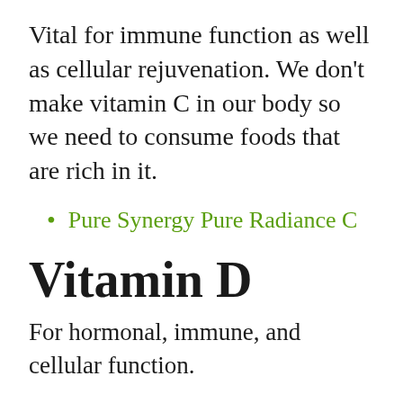Vital for immune function as well as cellular rejuvenation. We don't make vitamin C in our body so we need to consume foods that are rich in it.
Pure Synergy Pure Radiance C
Vitamin D
For hormonal, immune, and cellular function.
Seeking Health | Optimal Vitamin D3 + K2 Drops
Orthomolecular Kid – D Liquid Drops